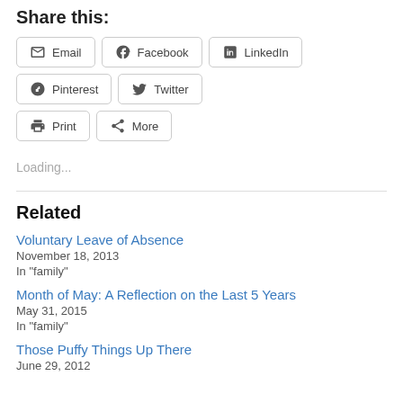Share this:
Email
Facebook
LinkedIn
Pinterest
Twitter
Print
More
Loading...
Related
Voluntary Leave of Absence
November 18, 2013
In "family"
Month of May: A Reflection on the Last 5 Years
May 31, 2015
In "family"
Those Puffy Things Up There
June 29, 2012